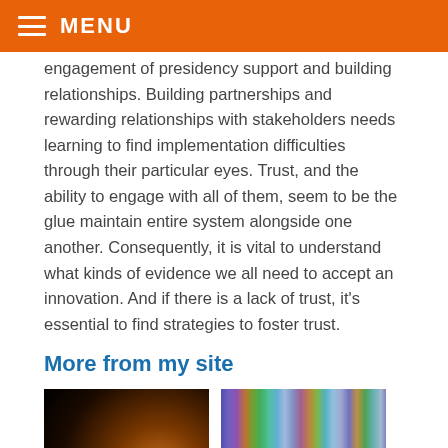MENU
engagement of presidency support and building relationships. Building partnerships and rewarding relationships with stakeholders needs learning to find implementation difficulties through their particular eyes. Trust, and the ability to engage with all of them, seem to be the glue maintain entire system alongside one another. Consequently, it is vital to understand what kinds of evidence we all need to accept an innovation. And if there is a lack of trust, it's essential to find strategies to foster trust.
More from my site
[Figure (photo): Dark image with warm brownish-orange gradient in bottom-left corner fading to black]
[Figure (photo): Colorful vertical striped image with rainbow-like multicolored bands]